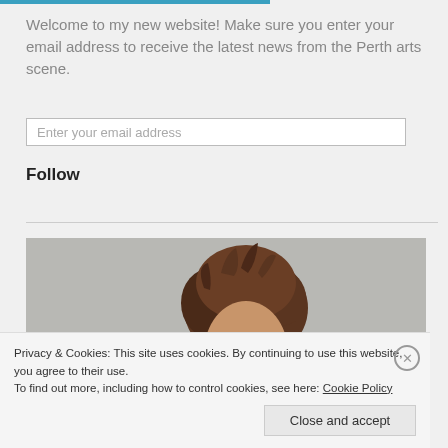Welcome to my new website! Make sure you enter your email address to receive the latest news from the Perth arts scene.
Enter your email address
Follow
[Figure (photo): Partial view of a person's head with short brown hair against a grey background]
Privacy & Cookies: This site uses cookies. By continuing to use this website, you agree to their use.
To find out more, including how to control cookies, see here: Cookie Policy
Close and accept